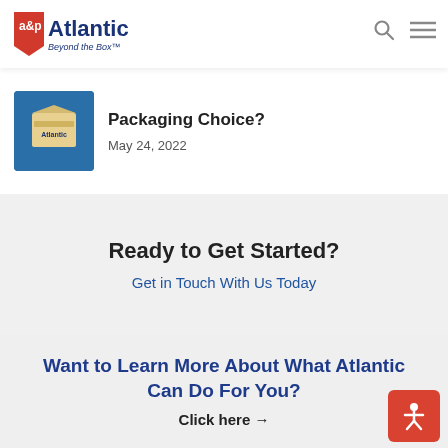Atlantic Packaging — Beyond the Box
[Figure (photo): Product box photo on blue background]
Packaging Choice?
May 24, 2022
Ready to Get Started?
Get in Touch With Us Today
Want to Learn More About What Atlantic Can Do For You?
Click here →